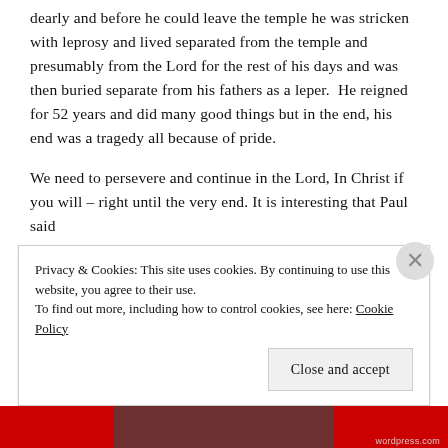dearly and before he could leave the temple he was stricken with leprosy and lived separated from the temple and presumably from the Lord for the rest of his days and was then buried separate from his fathers as a leper.  He reigned for 52 years and did many good things but in the end, his end was a tragedy all because of pride.
We need to persevere and continue in the Lord, In Christ if you will – right until the very end. It is interesting that Paul said
Privacy & Cookies: This site uses cookies. By continuing to use this website, you agree to their use.
To find out more, including how to control cookies, see here: Cookie Policy